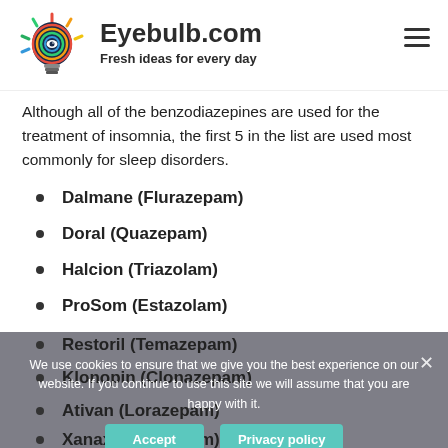[Figure (logo): Eyebulb.com logo: colorful light bulb with eye in center, rays in multiple colors]
Eyebulb.com
Fresh ideas for every day
Although all of the benzodiazepines are used for the treatment of insomnia, the first 5 in the list are used most commonly for sleep disorders.
Dalmane (Flurazepam)
Doral (Quazepam)
Halcion (Triazolam)
ProSom (Estazolam)
Restoril (Temazepam)
Klonopin (Clonazepam)
Ativan (Lorazepam)
Xanax (Alprazolam)
We use cookies to ensure that we give you the best experience on our website. If you continue to use this site we will assume that you are happy with it.